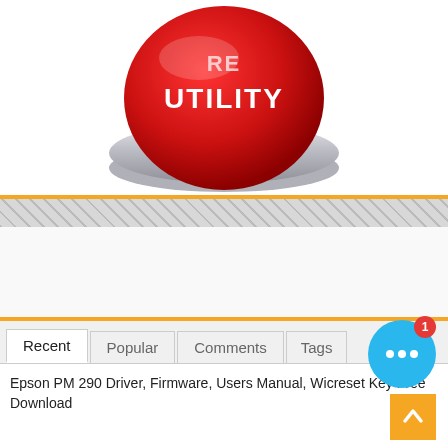[Figure (illustration): A red 3D push button with white text reading 'UTILITY' on a silver metallic base, viewed from a slight angle above.]
[Figure (other): An orange horizontal divider line below the button image.]
[Figure (other): A diagonal hatched/striped gray decorative bar.]
[Figure (other): A blank white advertisement section with an orange border at bottom.]
Recent | Popular | Comments | Tags (navigation tabs)
Epson PM 290 Driver, Firmware, Users Manual, Wicreset Key Free Download